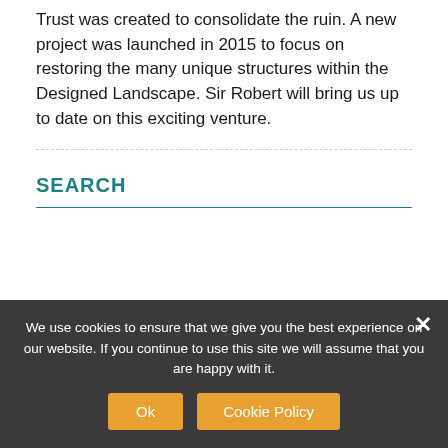Trust was created to consolidate the ruin. A new project was launched in 2015 to focus on restoring the many unique structures within the Designed Landscape. Sir Robert will bring us up to date on this exciting venture.
SEARCH
We use cookies to ensure that we give you the best experience on our website. If you continue to use this site we will assume that you are happy with it.
ARCHIVE